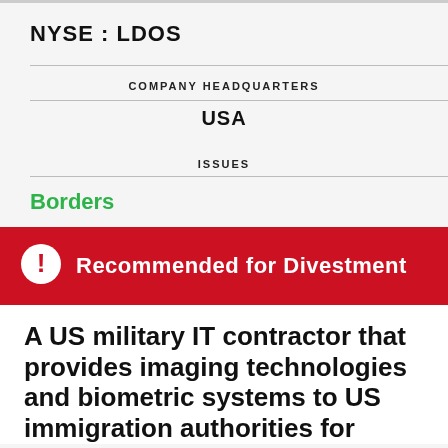NYSE : LDOS
COMPANY HEADQUARTERS
USA
ISSUES
Borders
Recommended for Divestment
A US military IT contractor that provides imaging technologies and biometric systems to US immigration authorities for